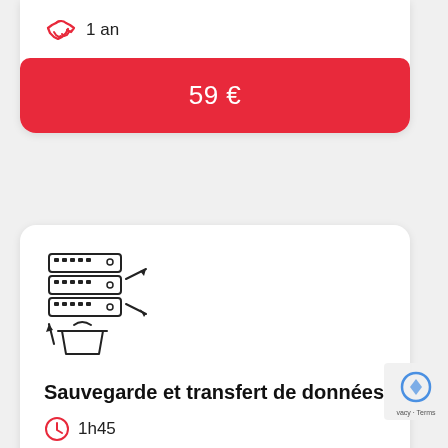1 an
59 €
[Figure (illustration): Icon of server stack with data transfer arrows and a storage bin, representing backup and data transfer service]
Sauvegarde et transfert de données
1h45
R C